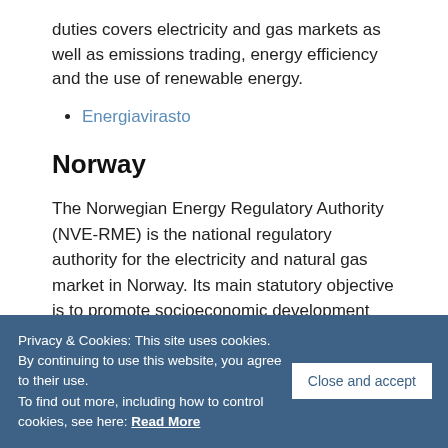duties covers electricity and gas markets as well as emissions trading, energy efficiency and the use of renewable energy.
Energiavirasto
Norway
The Norwegian Energy Regulatory Authority (NVE-RME) is the national regulatory authority for the electricity and natural gas market in Norway. Its main statutory objective is to promote socioeconomic development through an efficient and environmentally sound energy production, as well as promoting efficient and reliable transmission, distribution, trade and efficient
Privacy & Cookies: This site uses cookies. By continuing to use this website, you agree to their use.
To find out more, including how to control cookies, see here: Read More